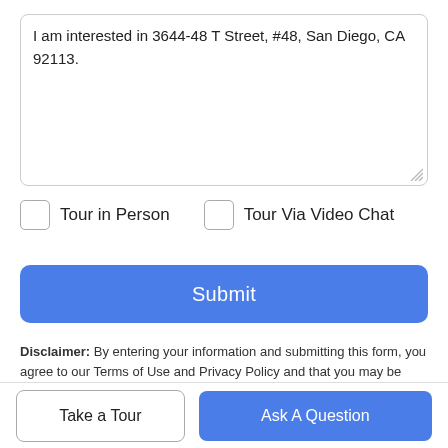I am interested in 3644-48 T Street, #48, San Diego, CA 92113.
Tour in Person
Tour Via Video Chat
Submit
Disclaimer: By entering your information and submitting this form, you agree to our Terms of Use and Privacy Policy and that you may be contacted by phone, text message and email about your inquiry.
Take a Tour
Ask A Question